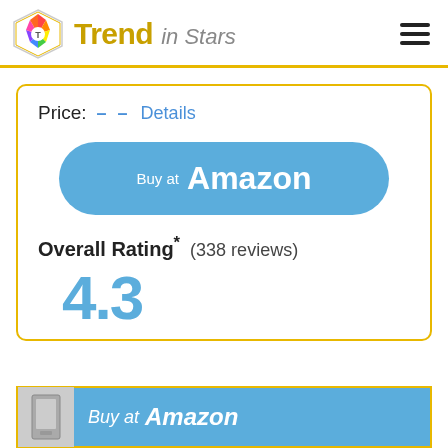Trend in Stars
Price: -- Details
[Figure (other): Buy at Amazon button (large blue pill-shaped button)]
Overall Rating* (338 reviews)
4.3
[Figure (other): Bottom banner: Buy at Amazon with product image]